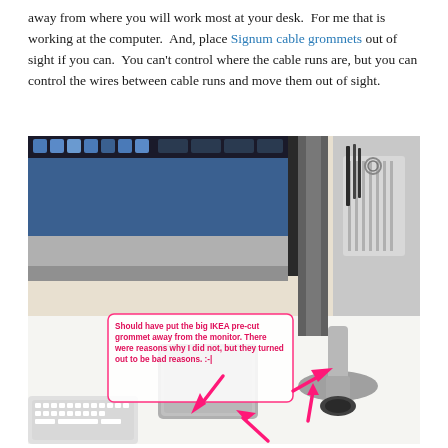away from where you will work most at your desk.  For me that is working at the computer.  And, place Signum cable grommets out of sight if you can.  You can't control where the cable runs are, but you can control the wires between cable runs and move them out of sight.
[Figure (photo): Photograph of a computer desk setup showing a monitor on an arm mount, a desk grommet (IKEA Signum cable grommet) on the desk surface, and a small desk organizer. Pink/magenta arrows point to the grommet and monitor base. An annotation in pink text reads: 'Should have put the big IKEA pre-cut grommet away from the monitor. There were reasons why I did not, but they turned out to be bad reasons. :-|']